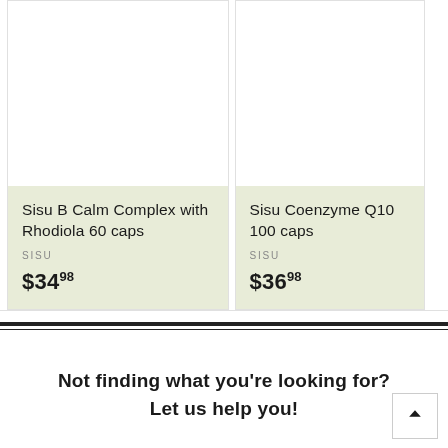[Figure (photo): Product card: Sisu B Calm Complex with Rhodiola 60 caps, price $34.98, brand SISU, light green background]
[Figure (photo): Partial product card: Sisu Coenzyme Q10 100 caps, price $36.98, brand SISU, light green background, cropped on right]
Not finding what you're looking for?
Let us help you!